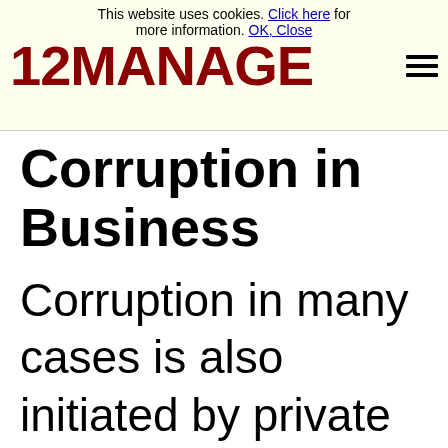This website uses cookies. Click here for more information. OK, Close
[Figure (logo): 12MANAGE logo in dark red bold text with hamburger menu icon]
Corruption in Business
Corruption in many cases is also initiated by private business